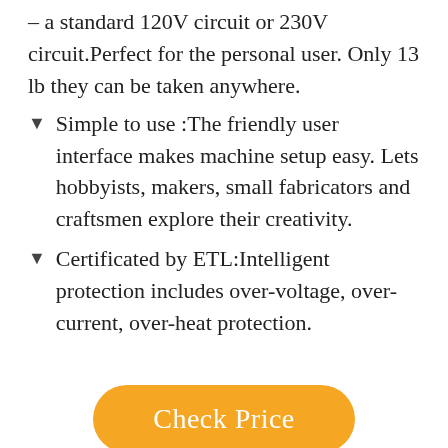– a standard 120V circuit or 230V circuit.Perfect for the personal user. Only 13 lb they can be taken anywhere.
Simple to use :The friendly user interface makes machine setup easy. Lets hobbyists, makers, small fabricators and craftsmen explore their creativity.
Certificated by ETL:Intelligent protection includes over-voltage, over-current, over-heat protection.
Check Price